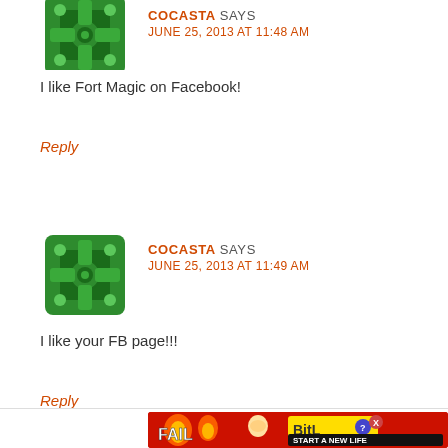[Figure (illustration): Green decorative avatar icon for user COCASTA (partially cropped at top)]
COCASTA SAYS
JUNE 25, 2013 AT 11:48 AM
I like Fort Magic on Facebook!
Reply
[Figure (illustration): Green decorative avatar icon for user COCASTA]
COCASTA SAYS
JUNE 25, 2013 AT 11:49 AM
I like your FB page!!!
Reply
[Figure (illustration): BitLife advertisement banner - red background with flames, cartoon girl, FAIL text, and START A NEW LIFE slogan]